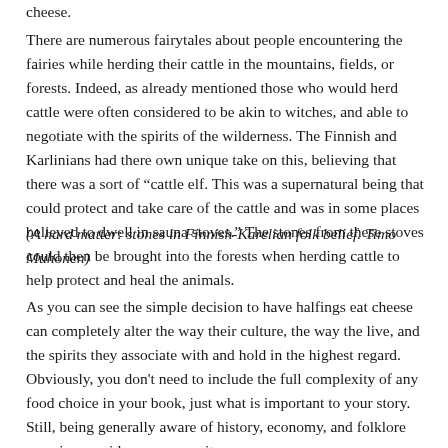cheese.
There are numerous fairytales about people encountering the fairies while herding their cattle in the mountains, fields, or forests. Indeed, as already mentioned those who would herd cattle were often considered to be akin to witches, and able to negotiate with the spirits of the wilderness. The Finnish and Karlinians had there own unique take on this, believing that there was a sort of “cattle elf. This was a supernatural being that could protect and take care of the cattle and was in some places believed to dwell in sauna stoves.” The stones from these stoves could then be brought into the forests when herding cattle to help protect and heal the animals.
(A hard matter: stones in Finnish-Karelian folk belief. Timo Muhonen)
As you can see the simple decision to have halfings eat cheese can completely alter the way their culture, the way the live, and the spirits they associate with and hold in the highest regard. Obviously, you don’t need to include the full complexity of any food choice in your book, just what is important to your story. Still, being generally aware of history, economy, and folklore can give you ideas as you write.